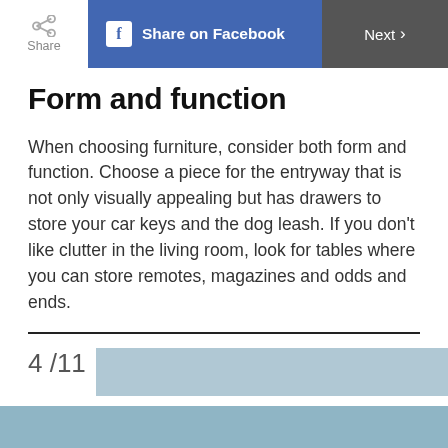Share | Share on Facebook | Next >
Form and function
When choosing furniture, consider both form and function. Choose a piece for the entryway that is not only visually appealing but has drawers to store your car keys and the dog leash. If you don't like clutter in the living room, look for tables where you can store remotes, magazines and odds and ends.
4 /11